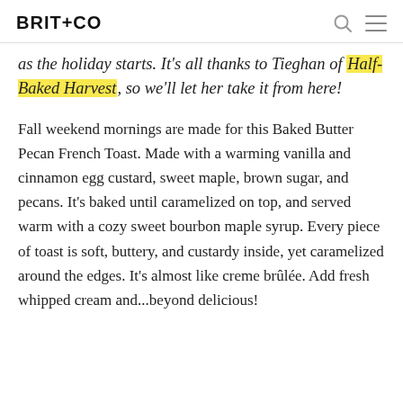BRIT+CO
as the holiday starts. It's all thanks to Tieghan of Half-Baked Harvest, so we'll let her take it from here!
Fall weekend mornings are made for this Baked Butter Pecan French Toast. Made with a warming vanilla and cinnamon egg custard, sweet maple, brown sugar, and pecans. It's baked until caramelized on top, and served warm with a cozy sweet bourbon maple syrup. Every piece of toast is soft, buttery, and custardy inside, yet caramelized around the edges. It's almost like creme brûlée. Add fresh whipped cream and...beyond delicious!